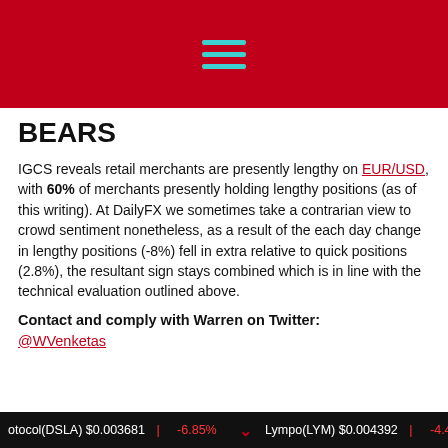[Figure (other): Red header bar with hamburger menu icon in teal/cyan color]
BEARS
IGCS reveals retail merchants are presently lengthy on EUR/USD, with 60% of merchants presently holding lengthy positions (as of this writing). At DailyFX we sometimes take a contrarian view to crowd sentiment nonetheless, as a result of the each day change in lengthy positions (-8%) fell in extra relative to quick positions (2.8%), the resultant sign stays combined which is in line with the technical evaluation outlined above.
Contact and comply with Warren on Twitter:
@WVenketas
otocol(DSLA) $0.003681 | -6.85%    Lympo(LYM) $0.004392 | -4.43%